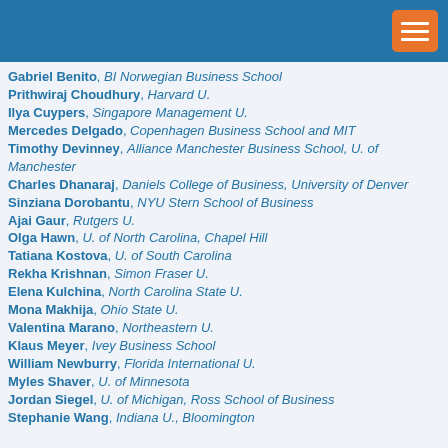Gabriel Benito, BI Norwegian Business School
Prithwiraj Choudhury, Harvard U.
Ilya Cuypers, Singapore Management U.
Mercedes Delgado, Copenhagen Business School and MIT
Timothy Devinney, Alliance Manchester Business School, U. of Manchester
Charles Dhanaraj, Daniels College of Business, University of Denver
Sinziana Dorobantu, NYU Stern School of Business
Ajai Gaur, Rutgers U.
Olga Hawn, U. of North Carolina, Chapel Hill
Tatiana Kostova, U. of South Carolina
Rekha Krishnan, Simon Fraser U.
Elena Kulchina, North Carolina State U.
Mona Makhija, Ohio State U.
Valentina Marano, Northeastern U.
Klaus Meyer, Ivey Business School
William Newburry, Florida International U.
Myles Shaver, U. of Minnesota
Jordan Siegel, U. of Michigan, Ross School of Business
Stephanie Wang, Indiana U., Bloomington